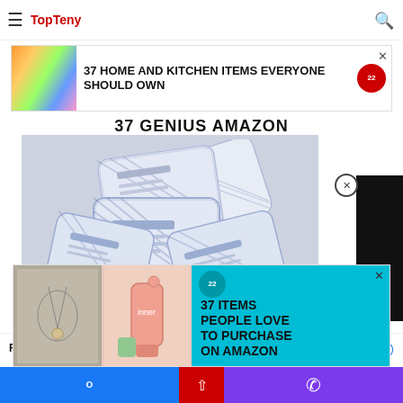TopTeny
[Figure (screenshot): Website screenshot of TopTeny.com showing navigation header with hamburger menu, TopTeny logo, and search icon]
[Figure (infographic): Advertisement banner: 37 HOME AND KITCHEN ITEMS EVERYONE SHOULD OWN with colorful storage bag image and badge]
37 GENIUS AMAZON
[Figure (photo): Product photo of multiple packets of makeup remover cleansing towelettes arranged in a fan pattern]
Find us on Facebook
[Figure (infographic): Advertisement overlay: 37 ITEMS PEOPLE LOVE TO PURCHASE ON AMAZON with product images and teal background]
Facebook share | scroll up | phone